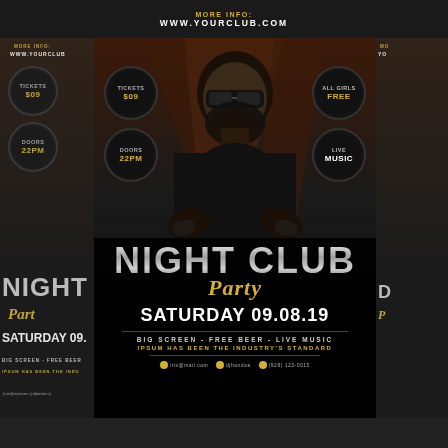MORE INFO: WWW.YOURCLUB.COM
[Figure (photo): Night club party flyer showing a bearded man with sunglasses and tattoos, crossed arms, wearing a black t-shirt. Multiple overlapping versions of the flyer visible. Text includes: NIGHT CLUB Party, SATURDAY 09.08.19, BIG SCREEN - FREE BEER - LIVE MUSIC, IPSUM HAS BEEN THE INDUSTRY'S STANDARD. Badges/circles: TICKETS $09, DOORS 22PM, ALL GIRLS FREE, LIVE MUSIC.]
NIGHT CLUB Party
SATURDAY 09.08.19
BIG SCREEN - FREE BEER - LIVE MUSIC
IPSUM HAS BEEN THE INDUSTRY'S STANDARD
iris@mail.com  djhondoe  (928) 123-0015